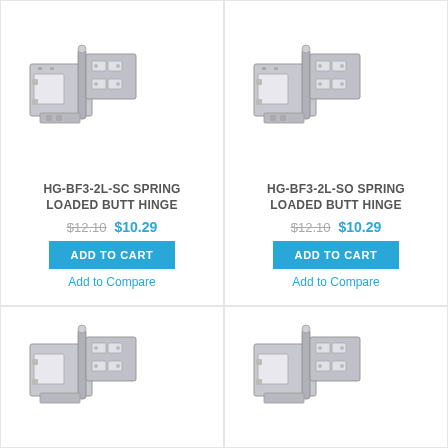[Figure (photo): Spring loaded butt hinge product image - HG-BF3-2L-SC, two silver metal hinges shown]
[Figure (photo): Spring loaded butt hinge product image - HG-BF3-2L-SO, two silver metal hinges shown]
HG-BF3-2L-SC SPRING LOADED BUTT HINGE
HG-BF3-2L-SO SPRING LOADED BUTT HINGE
$12.10 $10.29
$12.10 $10.29
ADD TO CART
ADD TO CART
Add to Compare
Add to Compare
[Figure (photo): Partial view of spring loaded butt hinge product image - bottom left card]
[Figure (photo): Partial view of spring loaded butt hinge product image - bottom right card]